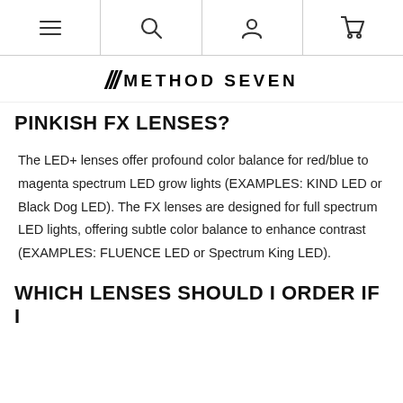Navigation bar with menu, search, account, and cart icons
[Figure (logo): Method Seven logo with italic slash mark and bold uppercase text METHOD SEVEN]
PINKISH FX LENSES?
The LED+ lenses offer profound color balance for red/blue to magenta spectrum LED grow lights (EXAMPLES: KIND LED or Black Dog LED). The FX lenses are designed for full spectrum LED lights, offering subtle color balance to enhance contrast (EXAMPLES: FLUENCE LED or Spectrum King LED).
WHICH LENSES SHOULD I ORDER IF I